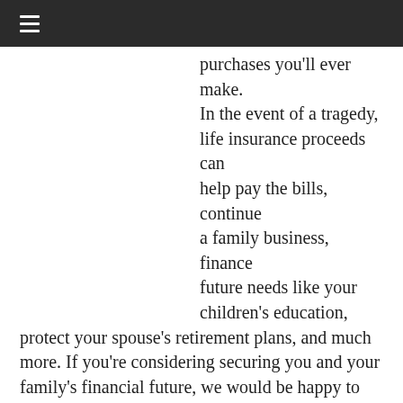☰
purchases you'll ever make. In the event of a tragedy, life insurance proceeds can help pay the bills, continue a family business, finance future needs like your children's education, protect your spouse's retirement plans, and much more. If you're considering securing you and your family's financial future, we would be happy to review your current situation and offer a few ideas on how you can protect it!
Types of Life Insurance: